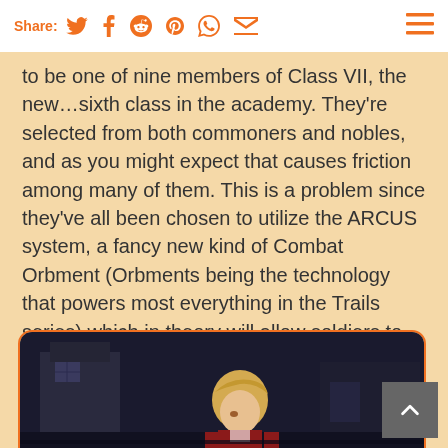Share: [twitter] [facebook] [reddit] [pinterest] [whatsapp] [email]
to be one of nine members of Class VII, the new…sixth class in the academy. They're selected from both commoners and nobles, and as you might expect that causes friction among many of them. This is a problem since they've all been chosen to utilize the ARCUS system, a fancy new kind of Combat Orbment (Orbments being the technology that powers most everything in the Trails series) which in theory will allow soldiers to work together better on the battlefield.
[Figure (screenshot): Screenshot from a game showing a character with short blonde hair in a dark environment, appearing to be a scene from Trails of Cold Steel.]